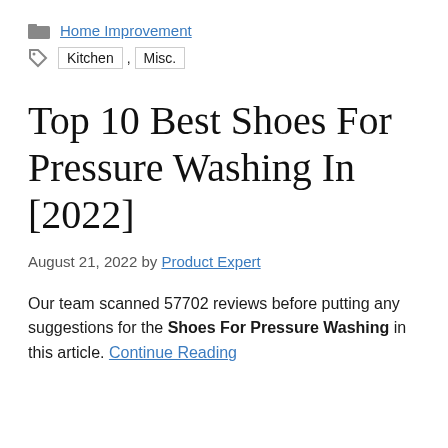Home Improvement
Kitchen , Misc.
Top 10 Best Shoes For Pressure Washing In [2022]
August 21, 2022 by Product Expert
Our team scanned 57702 reviews before putting any suggestions for the Shoes For Pressure Washing in this article. Continue Reading